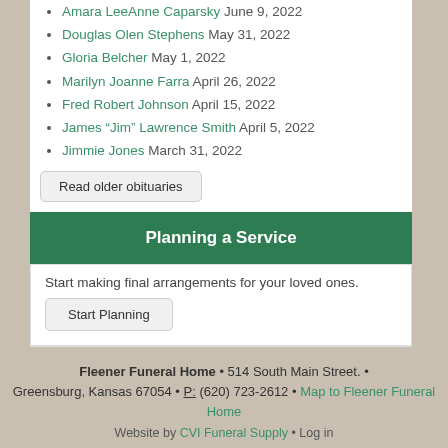Amara LeeAnne Caparsky June 9, 2022
Douglas Olen Stephens May 31, 2022
Gloria Belcher May 1, 2022
Marilyn Joanne Farra April 26, 2022
Fred Robert Johnson April 15, 2022
James “Jim” Lawrence Smith April 5, 2022
Jimmie Jones March 31, 2022
Read older obituaries
Planning a Service
Start making final arrangements for your loved ones.
Start Planning
Fleener Funeral Home • 514 South Main Street. • Greensburg, Kansas 67054 • P: (620) 723-2612 • Map to Fleener Funeral Home
Website by CVI Funeral Supply • Log in